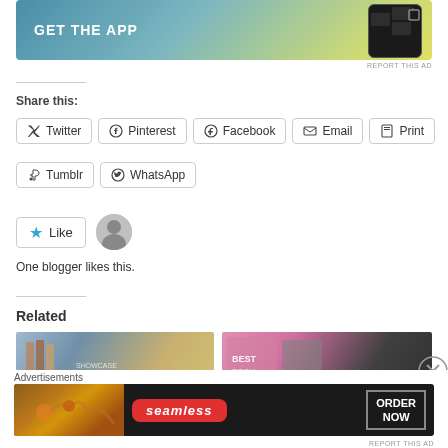[Figure (photo): App advertisement banner with teal-to-yellow gradient, text GET THE APP and phone mockup]
REPORT THIS AD
Share this:
Twitter  Pinterest  Facebook  Email  Print  Tumblr  WhatsApp
Like
One blogger likes this.
Related
[Figure (photo): Related article thumbnail - books]
[Figure (photo): Related article thumbnail - notebooks]
Advertisements
[Figure (photo): Seamless food delivery advertisement banner with pizza, seamless logo, and ORDER NOW button]